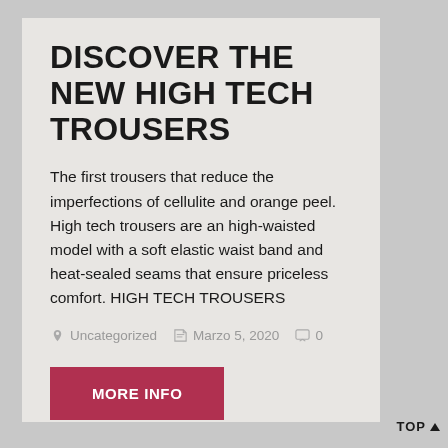DISCOVER THE NEW HIGH TECH TROUSERS
The first trousers that reduce the imperfections of cellulite and orange peel. High tech trousers are an high-waisted model with a soft elastic waist band and heat-sealed seams that ensure priceless comfort. HIGH TECH TROUSERS
Uncategorized   Marzo 5, 2020   0
MORE INFO
TOP ↑